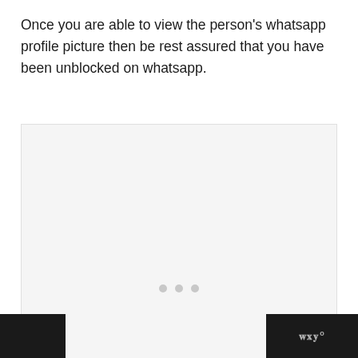Once you are able to view the person's whatsapp profile picture then be rest assured that you have been unblocked on whatsapp.
[Figure (other): Large light gray rectangular placeholder image area with three small gray dots centered near the bottom]
WWo (logo mark in footer bar, right side)